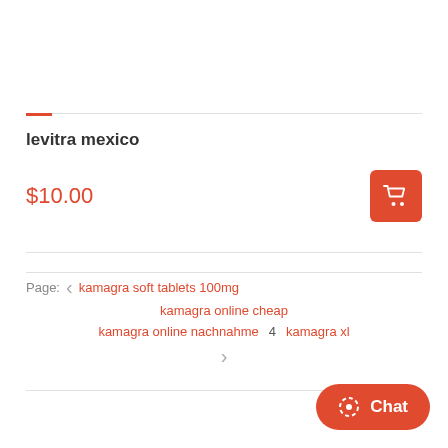levitra mexico
$10.00
Page: < kamagra soft tablets 100mg kamagra online cheap kamagra online nachnahme 4 kamagra xl >
Chat